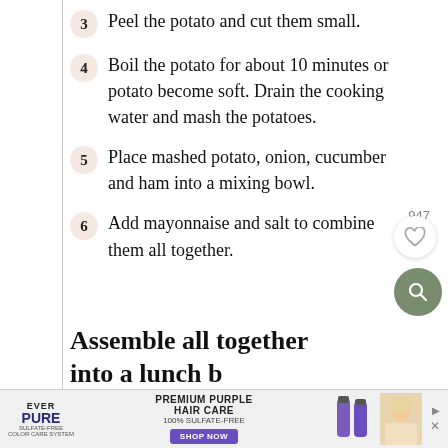3  Peel the potato and cut them small.
4  Boil the potato for about 10 minutes or potato become soft. Drain the cooking water and mash the potatoes.
5  Place mashed potato, onion, cucumber and ham into a mixing bowl.
6  Add mayonnaise and salt to combine them all together.
Assemble all together into a lunch b...
[Figure (infographic): Page number 947, heart/favorite button, and search button overlay on right side]
[Figure (infographic): Advertisement banner: Ever Pure - Premium Purple Hair Care, 100% Sulfate-Free, Shop Now button, with product image and model photo]